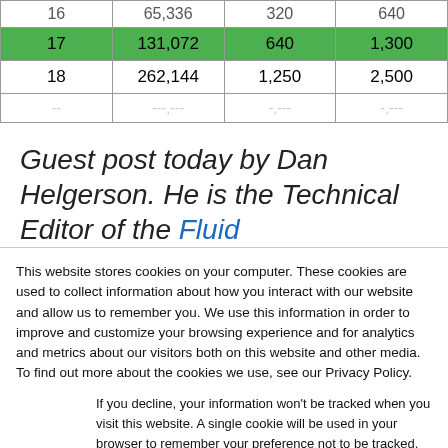| 16 | 65,336 | 320 | 640 |
| 17 | 131,072 | 640 | 1,300 |
| 18 | 262,144 | 1,250 | 2,500 |
| … | … | … | … |
Guest post today by Dan Helgerson. He is the Technical Editor of the Fluid
This website stores cookies on your computer. These cookies are used to collect information about how you interact with our website and allow us to remember you. We use this information in order to improve and customize your browsing experience and for analytics and metrics about our visitors both on this website and other media. To find out more about the cookies we use, see our Privacy Policy.
If you decline, your information won't be tracked when you visit this website. A single cookie will be used in your browser to remember your preference not to be tracked.